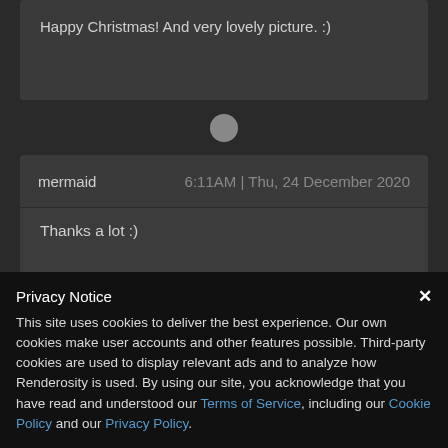Happy Christmas! And very lovely picture. :)
mermaid	6:11AM | Thu, 24 December 2020
Thanks a lot :)
Privacy Notice
This site uses cookies to deliver the best experience. Our own cookies make user accounts and other features possible. Third-party cookies are used to display relevant ads and to analyze how Renderosity is used. By using our site, you acknowledge that you have read and understood our Terms of Service, including our Cookie Policy and our Privacy Policy.